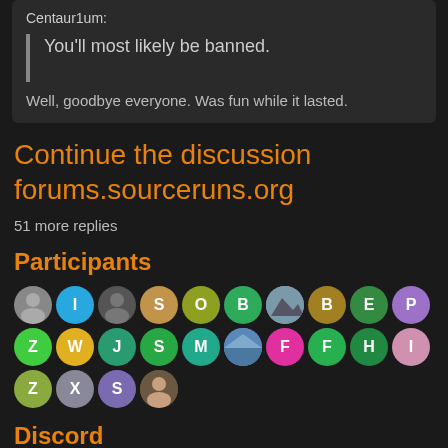Centaur1um:
You'll most likely be banned.
Well, goodbye everyone. Was fun while it lasted.
Continue the discussion forums.sourceruns.org
51 more replies
Participants
[Figure (other): Row of circular user avatar icons with letters and photos representing forum participants]
Discord
[Figure (other): Blue Discord widget box]